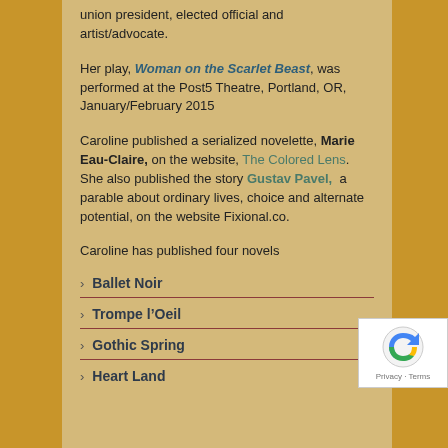union president, elected official and artist/advocate.
Her play, Woman on the Scarlet Beast, was performed at the Post5 Theatre, Portland, OR, January/February 2015
Caroline published a serialized novelette, Marie Eau-Claire, on the website, The Colored Lens. She also published the story Gustav Pavel, a parable about ordinary lives, choice and alternate potential, on the website Fixional.co.
Caroline has published four novels
Ballet Noir
Trompe l’Oeil
Gothic Spring
Heart Land